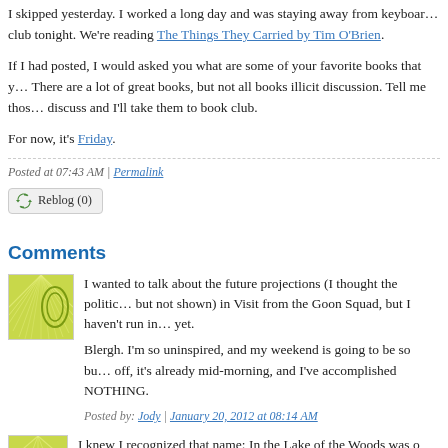I skipped yesterday. I worked a long day and was staying away from keyboards. I have book club tonight. We're reading The Things They Carried by Tim O'Brien.
If I had posted, I would asked you what are some of your favorite books that you've read in book clubs? There are a lot of great books, but not all books illicit discussion. Tell me those that are good to discuss and I'll take them to book club.
For now, it's Friday.
Posted at 07:43 AM | Permalink
Reblog (0)
Comments
I wanted to talk about the future projections (I thought the politics were interesting but not shown) in Visit from the Goon Squad, but I haven't run into you at trivia yet.
Blergh. I'm so uninspired, and my weekend is going to be so busy. It's my day off, it's already mid-morning, and I've accomplished NOTHING.
Posted by: Jody | January 20, 2012 at 08:14 AM
I knew I recognized that name; In the Lake of the Woods was o